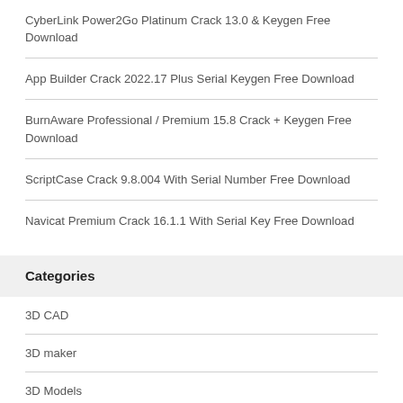CyberLink Power2Go Platinum Crack 13.0 & Keygen Free Download
App Builder Crack 2022.17 Plus Serial Keygen Free Download
BurnAware Professional / Premium 15.8 Crack + Keygen Free Download
ScriptCase Crack 9.8.004 With Serial Number Free Download
Navicat Premium Crack 16.1.1 With Serial Key Free Download
Categories
3D CAD
3D maker
3D Models
Action
Adobe Softwares
Android Apps